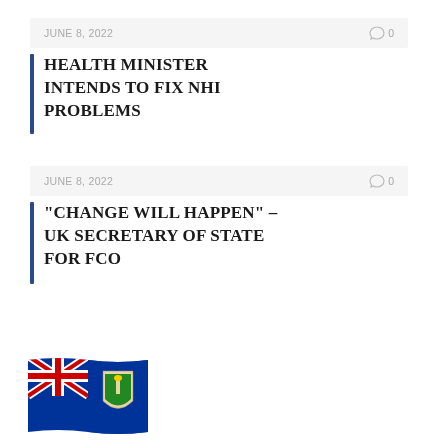JUNE 8, 2022   0
HEALTH MINISTER INTENDS TO FIX NHI PROBLEMS
JUNE 8, 2022   0
"CHANGE WILL HAPPEN" – UK SECRETARY OF STATE FOR FCO
[Figure (illustration): British Virgin Islands flag emoji/illustration, waving flag with Union Jack and BVI coat of arms on blue background]